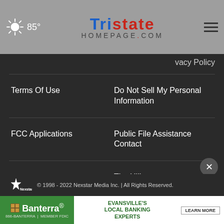85° | TRISTATE HOMEPAGE.com
Privacy Policy
Terms Of Use
Do Not Sell My Personal Information
FCC Applications
Public File Assistance Contact
The Hill
NewsNation
BestReviews
Content Licensing
Nexstar Digital
© 1998 - 2022 Nexstar Media Inc. | All Rights Reserved.
[Figure (other): Banterra Bank advertisement: Evansville's Local Banking Experts, with LEARN MORE button, 866-BANTERRA | MEMBER FDIC]